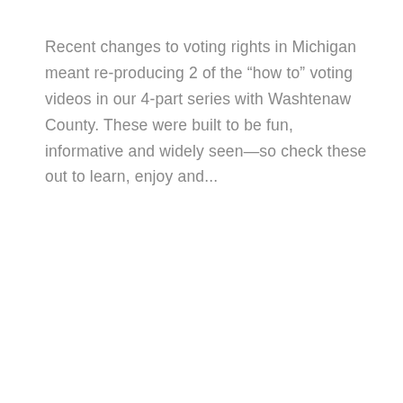Recent changes to voting rights in Michigan meant re-producing 2 of the “how to” voting videos in our 4-part series with Washtenaw County. These were built to be fun, informative and widely seen—so check these out to learn, enjoy and...